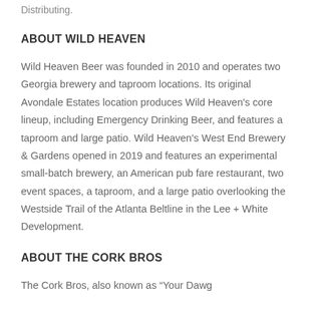Distributing.
ABOUT WILD HEAVEN
Wild Heaven Beer was founded in 2010 and operates two Georgia brewery and taproom locations. Its original Avondale Estates location produces Wild Heaven’s core lineup, including Emergency Drinking Beer, and features a taproom and large patio. Wild Heaven’s West End Brewery & Gardens opened in 2019 and features an experimental small-batch brewery, an American pub fare restaurant, two event spaces, a taproom, and a large patio overlooking the Westside Trail of the Atlanta Beltline in the Lee + White Development.
ABOUT THE CORK BROS
The Cork Bros, also known as “Your Dawg